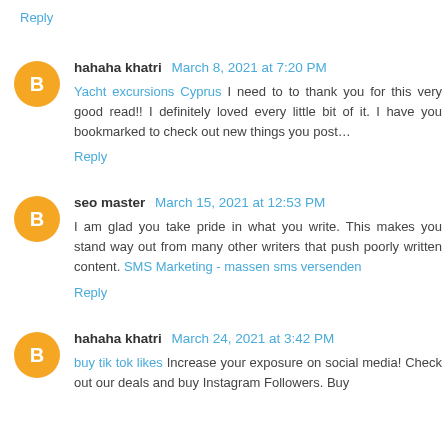Reply
hahaha khatri March 8, 2021 at 7:20 PM
Yacht excursions Cyprus I need to to thank you for this very good read!! I definitely loved every little bit of it. I have you bookmarked to check out new things you post…
Reply
seo master March 15, 2021 at 12:53 PM
I am glad you take pride in what you write. This makes you stand way out from many other writers that push poorly written content. SMS Marketing - massen sms versenden
Reply
hahaha khatri March 24, 2021 at 3:42 PM
buy tik tok likes Increase your exposure on social media! Check out our deals and buy Instagram Followers. Buy